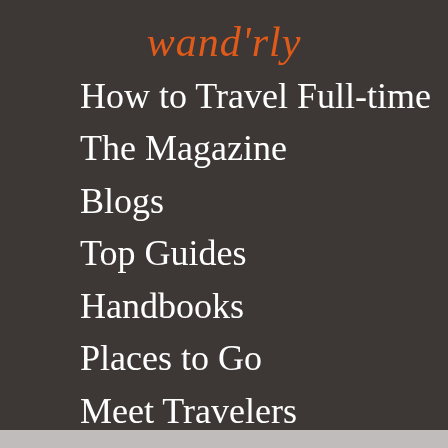wand'rly
How to Travel Full-time
The Magazine
Blogs
Top Guides
Handbooks
Places to Go
Meet Travelers
Roadschooling
About
Login